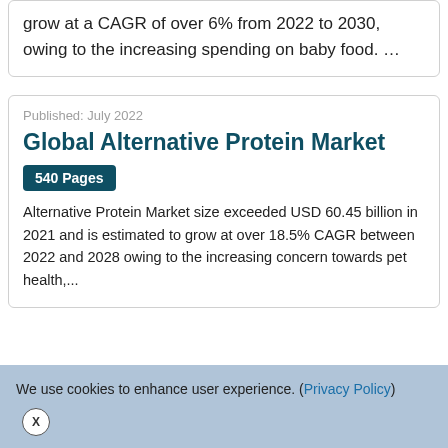grow at a CAGR of over 6% from 2022 to 2030, owing to the increasing spending on baby food. …
Published: July 2022
Global Alternative Protein Market  540 Pages
Alternative Protein Market size exceeded USD 60.45 billion in 2021 and is estimated to grow at over 18.5% CAGR between 2022 and 2028 owing to the increasing concern towards pet health,...
We use cookies to enhance user experience. (Privacy Policy) X